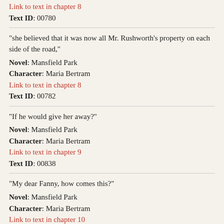Link to text in chapter 8
Text ID: 00780
"she believed that it was now all Mr. Rushworth's property on each side of the road,"
Novel: Mansfield Park
Character: Maria Bertram
Link to text in chapter 8
Text ID: 00782
"If he would give her away?"
Novel: Mansfield Park
Character: Maria Bertram
Link to text in chapter 9
Text ID: 00838
"My dear Fanny, how comes this?"
Novel: Mansfield Park
Character: Maria Bertram
Link to text in chapter 10
Text ID: 00955